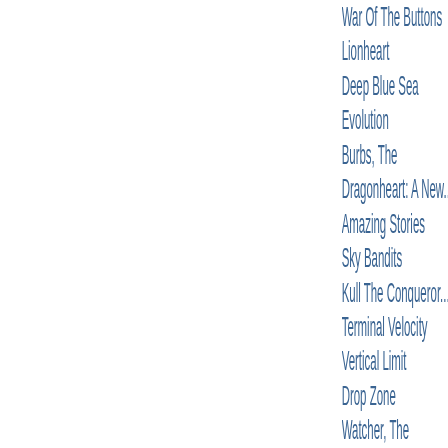War Of The Buttons
Lionheart
Deep Blue Sea
Evolution
Burbs, The
Dragonheart: A New...
Amazing Stories
Sky Bandits
Kull The Conqueror
Terminal Velocity
Vertical Limit
Drop Zone
Watcher, The
Alien³
Man On Fire
We're No Angels
Big Kahuna, The
This World, Then Th...
Touch Of Evil
Man Who Knew Too...
Cool World
On The Beach
Poslední Motýl
Big Man, The
And The Band Playe...
It's My Party
Careful, He Might H...
Return To Paradise
Instinct
Tailor Of Panama, T...
Linguini Incident, Th...
Mrs. Parker And Th...
Mulot...